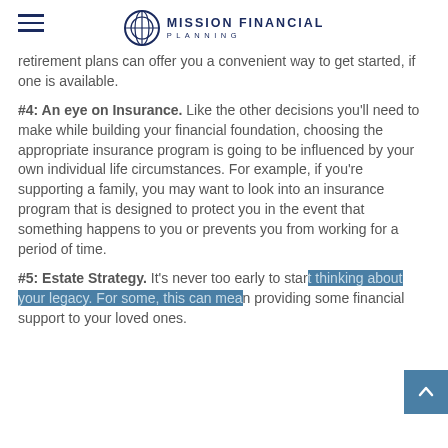MISSION FINANCIAL PLANNING
retirement plans can offer you a convenient way to get started, if one is available.
#4: An eye on Insurance. Like the other decisions you'll need to make while building your financial foundation, choosing the appropriate insurance program is going to be influenced by your own individual life circumstances. For example, if you're supporting a family, you may want to look into an insurance program that is designed to protect you in the event that something happens to you or prevents you from working for a period of time.
#5: Estate Strategy. It's never too early to start thinking about your legacy. For some, this can mean providing some financial support to your loved ones.